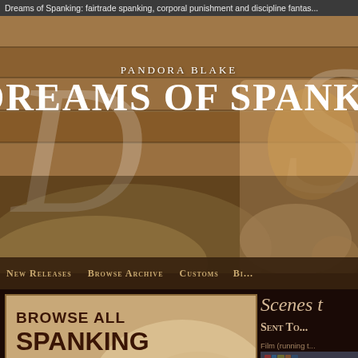Dreams of Spanking: fairtrade spanking, corporal punishment and discipline fantas...
[Figure (screenshot): Website hero banner for 'Pandora Blake Dreams of Spanking' with decorative D and S initials, wooden background, and figure]
New Releases | Browse Archive | Customs | Bi...
[Figure (screenshot): Browse all spanking scenes by category banner with chevron arrows]
Scenes...
Sent To...
Film (running ...
[Figure (photo): Thumbnail of film scene with bookshelf in background]
Login to your account